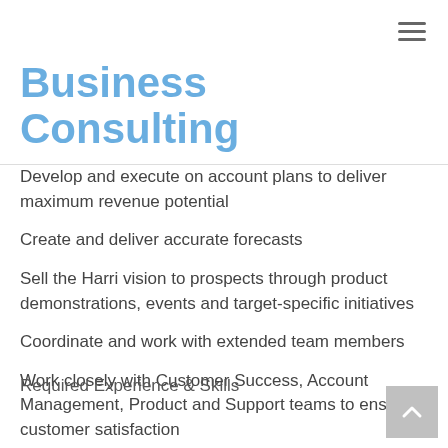Business Consulting
Develop and execute on account plans to deliver maximum revenue potential
Create and deliver accurate forecasts
Sell the Harri vision to prospects through product demonstrations, events and target-specific initiatives
Coordinate and work with extended team members
Work closely with Customer Success, Account Management, Product and Support teams to ensure customer satisfaction
Required Experience & Skills